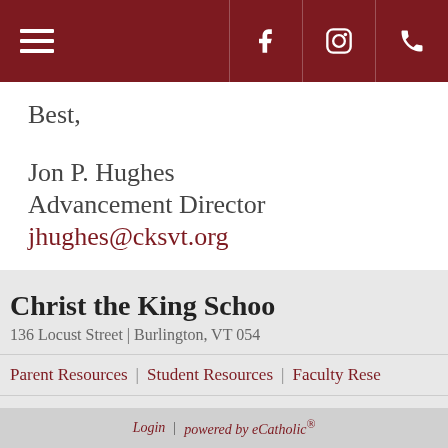Navigation header with hamburger menu, Facebook, Instagram, and phone icons
Best,
Jon P. Hughes
Advancement Director
jhughes@cksvt.org
Christ the King School
136 Locust Street | Burlington, VT 054
Parent Resources | Student Resources | Faculty Resources
Login | powered by eCatholic®